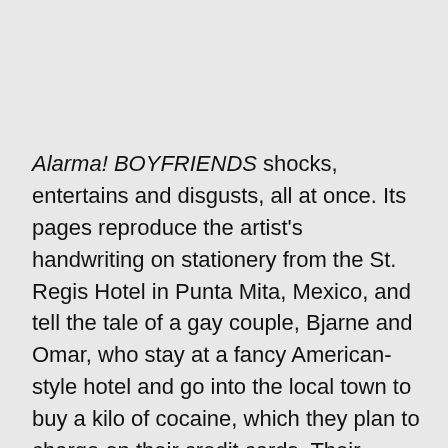Alarma! BOYFRIENDS shocks, entertains and disgusts, all at once. Its pages reproduce the artist's handwriting on stationery from the St. Regis Hotel in Punta Mita, Mexico, and tell the tale of a gay couple, Bjarne and Omar, who stay at a fancy American-style hotel and go into the local town to buy a kilo of cocaine, which they plan to charge on their credit cards. Their shared fantasy is to appear on the cover of Alarma!, and so they seek out a Mexican drug dealer who will dismember them,